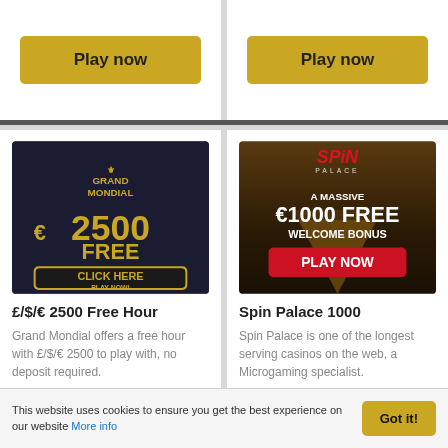[Figure (other): Two 'Play now' gold buttons side by side at the top of two casino listing cards]
[Figure (other): Grand Mondial casino banner: dark background with gold text showing €2500 FREE, CLICK HERE PLAY NOW!]
£/$/€ 2500 Free Hour
Grand Mondial offers a free hour with £/$/€ 2500 to play with, no deposit required.
[Figure (other): Spin Palace casino banner: casino scene background with SPIN PALACE logo in red, A MASSIVE €1000 FREE WELCOME BONUS, PLAY NOW red button]
Spin Palace 1000
Spin Palace is one of the longest serving casinos on the web, a Microgaming specialist.
This website uses cookies to ensure you get the best experience on our website More info